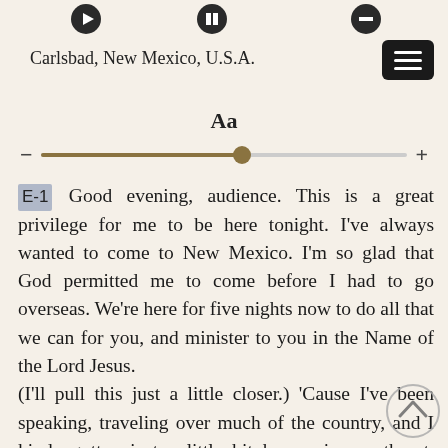Carlsbad, New Mexico, U.S.A.
Aa
E-1 Good evening, audience. This is a great privilege for me to be here tonight. I've always wanted to come to New Mexico. I'm so glad that God permitted me to come before I had to go overseas. We're here for five nights now to do all that we can for you, and minister to you in the Name of the Lord Jesus.
(I'll pull this just a little closer.) 'Cause I've been speaking, traveling over much of the country, and I kinda gotten just a little bit hoarse in my throat. Maybe one week, I'm where it's real real warm, and next week where it's real cold, and constantly speaking day and night.
I trust that this will be a great time for the people of God here. And I'll do all that I know how to pray that God will grant a great meeting here, while we're here. May His